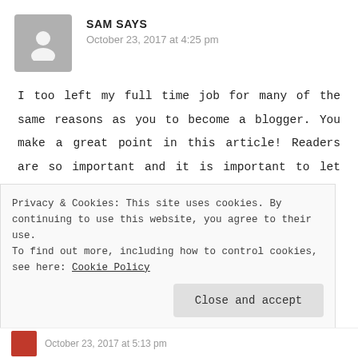SAM SAYS
October 23, 2017 at 4:25 pm
I too left my full time job for many of the same reasons as you to become a blogger. You make a great point in this article! Readers are so important and it is important to let them now how much we value them.
Reply
Privacy & Cookies: This site uses cookies. By continuing to use this website, you agree to their use.
To find out more, including how to control cookies, see here: Cookie Policy
Close and accept
October 23, 2017 at 5:13 pm